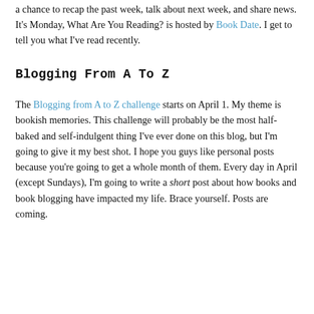a chance to recap the past week, talk about next week, and share news. It's Monday, What Are You Reading? is hosted by Book Date. I get to tell you what I've read recently.
Blogging From A To Z
The Blogging from A to Z challenge starts on April 1. My theme is bookish memories. This challenge will probably be the most half-baked and self-indulgent thing I've ever done on this blog, but I'm going to give it my best shot. I hope you guys like personal posts because you're going to get a whole month of them. Every day in April (except Sundays), I'm going to write a short post about how books and book blogging have impacted my life. Brace yourself. Posts are coming.